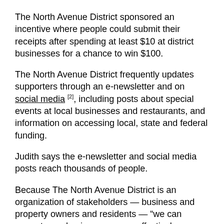The North Avenue District sponsored an incentive where people could submit their receipts after spending at least $10 at district businesses for a chance to win $100.
The North Avenue District frequently updates supporters through an e-newsletter and on social media [2], including posts about special events at local businesses and restaurants, and information on accessing local, state and federal funding.
Judith says the e-newsletter and social media posts reach thousands of people.
Because The North Avenue District is an organization of stakeholders — business and property owners and residents — “we can promote our businesses more effectively, because we reach prospective customers in a way a business association does not,” Judith says.
As a non-profit, The North Avenue District also searches for grants and funds projects such as public art.
Envisioning the district’s future, Judith says she sees “a lively street where people walk as well as drive and park.”